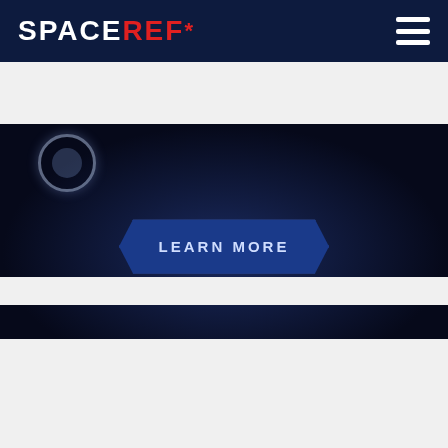[Figure (logo): SpaceRef website logo with white SPACE and red REF* text on dark navy header, with hamburger menu icon on right]
[Figure (screenshot): Dark space-themed banner advertisement with glowing blue hexagonal 'LEARN MORE' button centered, dark navy background with subtle radial glow]
[Figure (illustration): Book advertisement for 'Ballistic' by Travis S. Taylor. Left side shows book cover with orange stylized BALLISTIC title and space/explosion imagery. Right side on black background shows white bold text 'THE WORLD HELD HOSTAGE FROM THE ISS—SEND IN THE MARINES!' and yellow/gold text 'A BLAZING NEAR-FUTURE TECHNO-THRILLER']